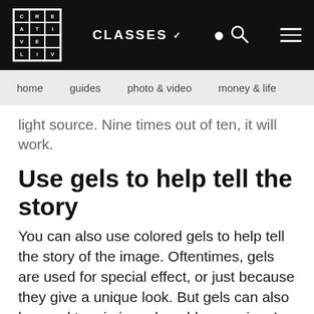CREATIVE LIVE — CLASSES — Search — Menu
home   guides   photo & video   money & life
light source. Nine times out of ten, it will work.
Use gels to help tell the story
You can also use colored gels to help tell the story of the image. Oftentimes, gels are used for special effect, or just because they give a unique look. But gels can also be used to mimic real-world scenarios. In the image below, I shot portraits of firefighters. I used a red gel on my kicker speed light to mimic a